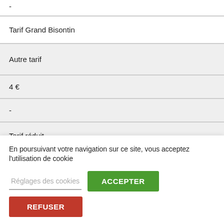| - |
| Tarif Grand Bisontin |
| Autre tarif |
| 4 € |
| - |
| Tarif réduit |
En poursuivant votre navigation sur ce site, vous acceptez l'utilisation de cookie
Réglages des cookies
ACCEPTER
REFUSER